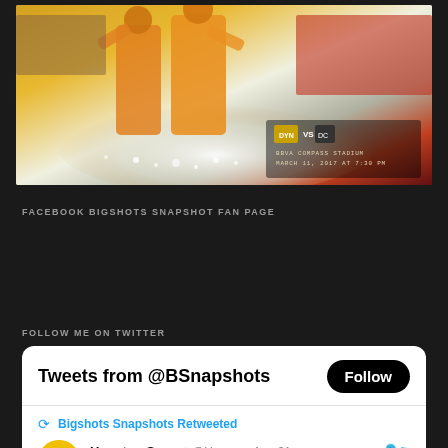[Figure (photo): Soccer/football action photo showing players in orange jerseys (Houston Dynamo) with water splashing, crowd in background. Game promotion overlay shows logos, BBVA Compass Stadium, March 11, 2017 at 7:30 PM]
FACEBOOK BIGSHOTS SNAPSHOT FAN PAGE
FOLLOW ME ON TWITTER
Tweets from @BSnapshots
Follow
Bigshots Snapshots Retweeted
Houston Sa... @Hou_... · Aug 31
Missing Good Hair Days